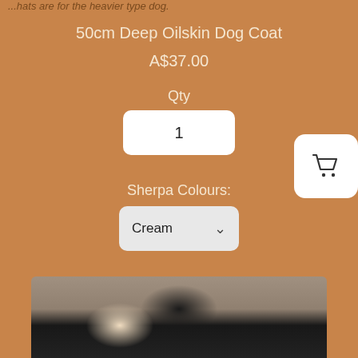...hats are for the heavier type dog.
50cm Deep Oilskin Dog Coat
A$37.00
Qty
1
Sherpa Colours:
Cream
Add to cart
[Figure (photo): Photo of a dog wearing or lying near a dark dog coat, viewed from above on a light surface.]